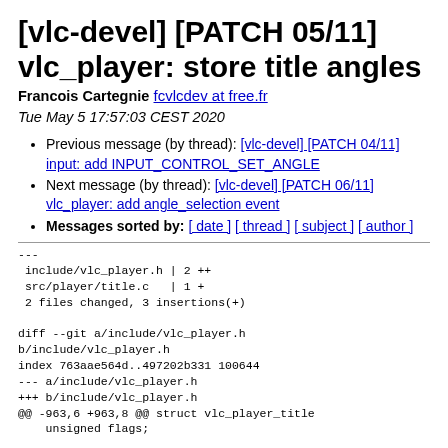[vlc-devel] [PATCH 05/11] vlc_player: store title angles
Francois Cartegnie fcvlcdev at free.fr
Tue May 5 17:57:03 CEST 2020
Previous message (by thread): [vlc-devel] [PATCH 04/11] input: add INPUT_CONTROL_SET_ANGLE
Next message (by thread): [vlc-devel] [PATCH 06/11] vlc_player: add angle_selection event
Messages sorted by: [ date ] [ thread ] [ subject ] [ author ]
---
 include/vlc_player.h | 2 ++
 src/player/title.c  | 1 +
 2 files changed, 3 insertions(+)

diff --git a/include/vlc_player.h b/include/vlc_player.h
index 763aae564d..497202b331 100644
--- a/include/vlc_player.h
+++ b/include/vlc_player.h
@@ -963,6 +963,8 @@ struct vlc_player_title
    unsigned flags;